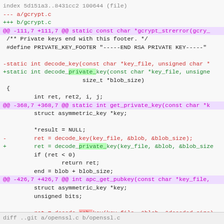[Figure (screenshot): A git diff screenshot showing changes to gcrypt.c and openssl.c, renaming decode_key to decode_private_key and decode_ssh_key to decode_public_key, with removed lines in red and added lines in green, hunk headers in magenta, and highlighted changed words in the code.]